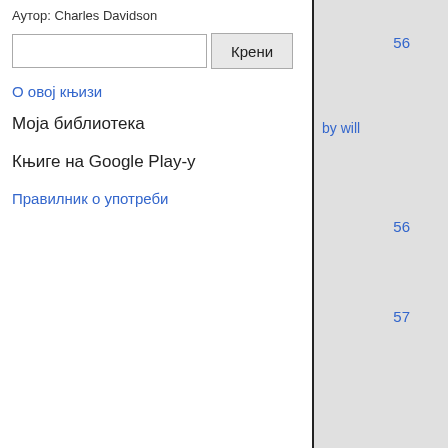Аутор: Charles Davidson
О овој књизи
Моја библиотека
Књиге на Google Play-у
Правилник о употреби
56 by will 56 57 58 58 59 59